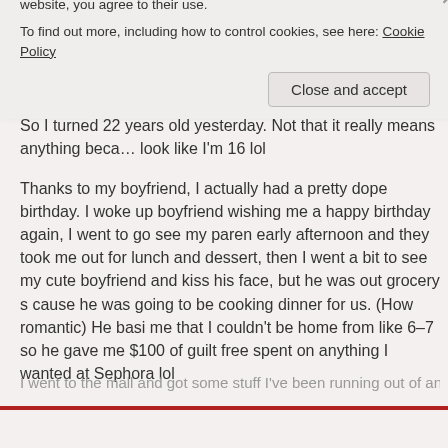Twenty Two
By aliapplejack
So I turned 22 years old yesterday. Not that it really means anything because I still look like I'm 16 lol
Thanks to my boyfriend, I actually had a pretty dope birthday. I woke up to my boyfriend wishing me a happy birthday again, I went to go see my parents in the early afternoon and they took me out for lunch and dessert, then I went home for a bit to see my cute boyfriend and kiss his face, but he was out grocery shopping cause he was going to be cooking dinner for us. (How romantic) He basically told me that I couldn't be home from like 6–7 so he gave me $100 of guilt free money spent on anything I wanted at Sephora lol
I went to the mall and got some stuff I've been running out of and also s…
Privacy & Cookies: This site uses cookies. By continuing to use this website, you agree to their use.
To find out more, including how to control cookies, see here: Cookie Policy
Close and accept